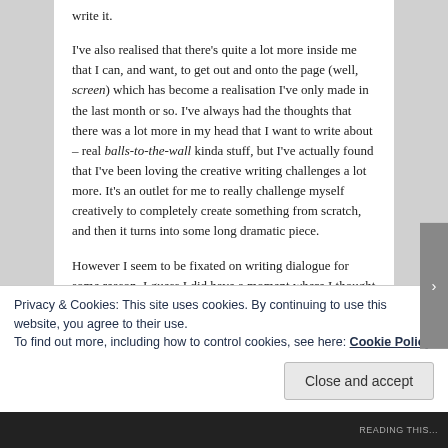write it.
I've also realised that there's quite a lot more inside me that I can, and want, to get out and onto the page (well, screen) which has become a realisation I've only made in the last month or so. I've always had the thoughts that there was a lot more in my head that I want to write about – real balls-to-the-wall kinda stuff, but I've actually found that I've been loving the creative writing challenges a lot more. It's an outlet for me to really challenge myself creatively to completely create something from scratch, and then it turns into some long dramatic piece.
However I seem to be fixated on writing dialogue for some reason. I guess I did have a moment where I thought
Privacy & Cookies: This site uses cookies. By continuing to use this website, you agree to their use.
To find out more, including how to control cookies, see here: Cookie Policy